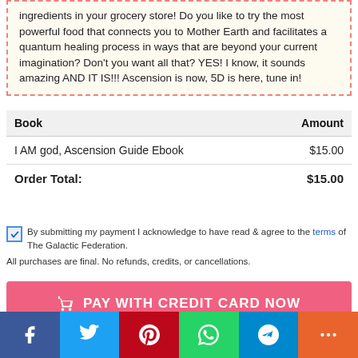ingredients in your grocery store! Do you like to try the most powerful food that connects you to Mother Earth and facilitates a quantum healing process in ways that are beyond your current imagination? Don't you want all that? YES! I know, it sounds amazing AND IT IS!!! Ascension is now, 5D is here, tune in!
| Book | Amount |
| --- | --- |
| I AM god, Ascension Guide Ebook | $15.00 |
| Order Total: | $15.00 |
By submitting my payment I acknowledge to have read & agree to the terms of The Galactic Federation.
All purchases are final. No refunds, credits, or cancellations.
PAY WITH CREDIT CARD NOW